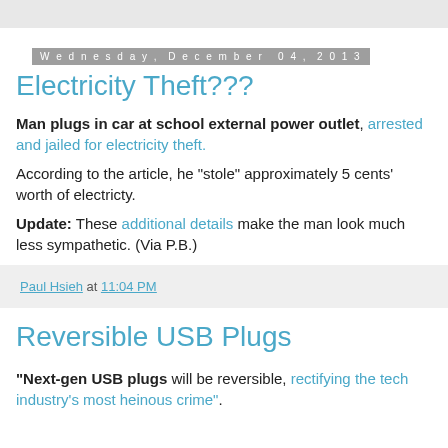Wednesday, December 04, 2013
Electricity Theft???
Man plugs in car at school external power outlet, arrested and jailed for electricity theft.
According to the article, he "stole" approximately 5 cents' worth of electricty.
Update: These additional details make the man look much less sympathetic. (Via P.B.)
Paul Hsieh at 11:04 PM
Reversible USB Plugs
"Next-gen USB plugs will be reversible, rectifying the tech industry's most heinous crime".